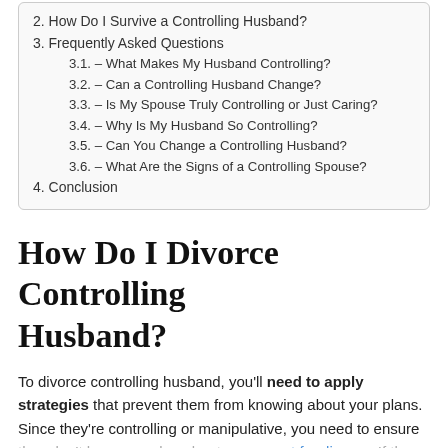2. How Do I Survive a Controlling Husband?
3. Frequently Asked Questions
3.1. – What Makes My Husband Controlling?
3.2. – Can a Controlling Husband Change?
3.3. – Is My Spouse Truly Controlling or Just Caring?
3.4. – Why Is My Husband So Controlling?
3.5. – Can You Change a Controlling Husband?
3.6. – What Are the Signs of a Controlling Spouse?
4. Conclusion
How Do I Divorce Controlling Husband?
To divorce controlling husband, you'll need to apply strategies that prevent them from knowing about your plans. Since they're controlling or manipulative, you need to ensure they don't have any clue about your quest for divorce. If they realize it, they may try to slow down, or cause domestic...